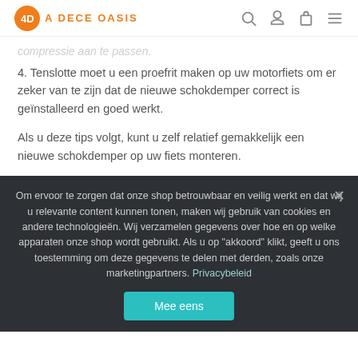A DECE OASIS
compressie aan te passen.
4. Tenslotte moet u een proefrit maken op uw motorfiets om er zeker van te zijn dat de nieuwe schokdemper correct is geïnstalleerd en goed werkt.
Als u deze tips volgt, kunt u zelf relatief gemakkelijk een nieuwe schokdemper op uw fiets monteren.
Om ervoor te zorgen dat onze shop betrouwbaar en veilig werkt en dat wij u relevante content kunnen tonen, maken wij gebruik van cookies en andere technologieën. Wij verzamelen gegevens over hoe en op welke apparaten onze shop wordt gebruikt. Als u op "akkoord" klikt, geeft u ons toestemming om deze gegevens te delen met derden, zoals onze marketingpartners. Privacybeleid
Mee eens